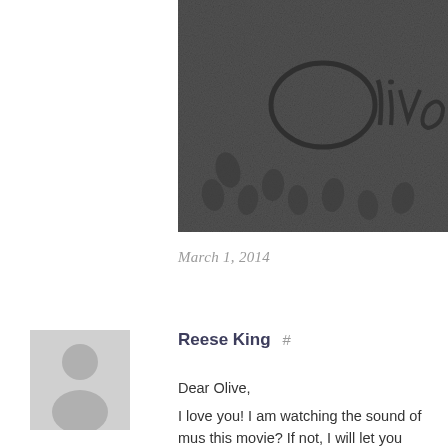[Figure (photo): Partial photograph of dark/black sand with cursive writing traced in the sand, footprints visible. Text appears to read 'Olive'. Image is cropped — left portion is cut off.]
March 1, 2014
[Figure (illustration): Generic user avatar placeholder — gray circle with gray silhouette of a person (head and shoulders) on white/light background.]
Reese King  #
Dear Olive,
I love you! I am watching the sound of mus this movie? If not, I will let you borrow it!!
Monday is Dr. Seuss's birthday I hope yo